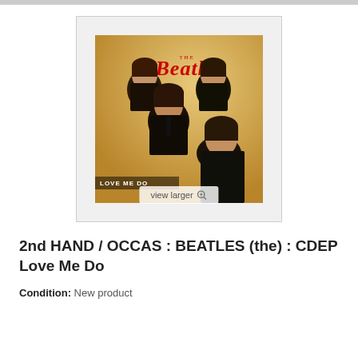[Figure (photo): Beatles 'Love Me Do' CDEP album cover showing four band members in dark suits against a warm yellow background with 'THE BEATLES' in red lettering and 'LOVE ME DO' text at bottom left, with a 'view larger' overlay button]
2nd HAND / OCCAS : BEATLES (the) : CDEP Love Me Do
Condition: New product